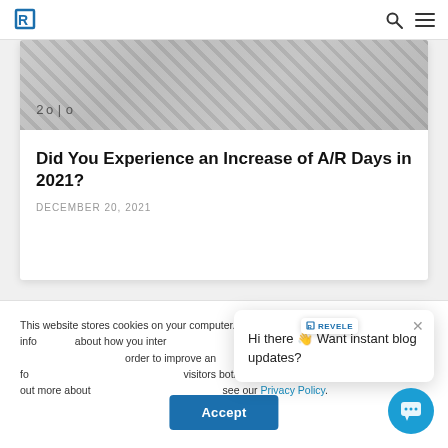R logo | search icon | menu icon
[Figure (photo): Grayscale close-up photo of a keyboard or similar office equipment with checkerboard pattern, showing text '2016' in monospace font]
Did You Experience an Increase of A/R Days in 2021?
DECEMBER 20, 2021
This website stores cookies on your computer. These cookies are used to collect information about how you interact with our website and allow us to remember you. We use this information in order to improve and customize your browsing experience and for analytics and metrics about our visitors both on this website and other media. To find out more about the cookies we use, please see our Privacy Policy.
Hi there 👋 Want instant blog updates?
Accept